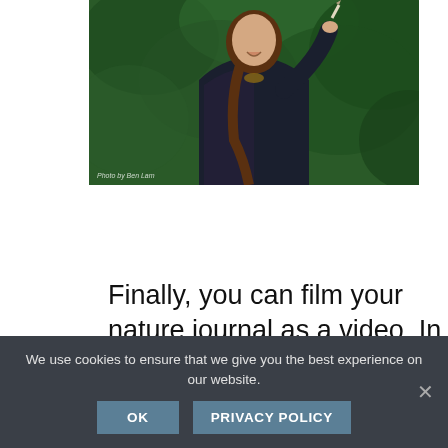[Figure (photo): Woman photographed outdoors against a green leafy hedge/bush background, holding a pencil or pen to her mouth, wearing a dark plaid flannel shirt with a braid. Photo credit: Photo by Ben Lam]
Finally, you can film your nature journal as a video. In last week's Cranetivities, we learned about making video postcards to document the
We use cookies to ensure that we give you the best experience on our website.
OK   PRIVACY POLICY